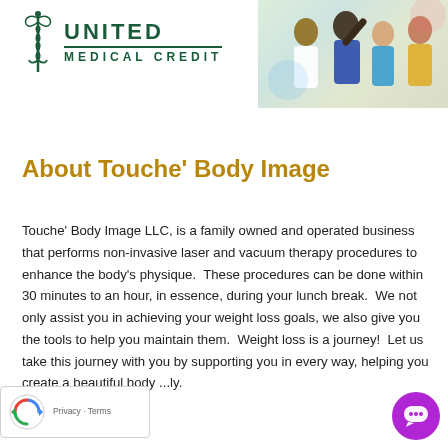[Figure (logo): United Medical Credit logo with caduceus symbol and green text]
[Figure (photo): Group of diverse happy people photo in upper right corner]
About Touche' Body Image
Touche' Body Image LLC, is a family owned and operated business that performs non-invasive laser and vacuum therapy procedures to enhance the body's physique.  These procedures can be done within  30 minutes to an hour, in essence, during your lunch break.  We not only assist you in achieving your weight loss goals, we also give you the tools to help you maintain them.  Weight loss is a journey!  Let us take this journey with you by supporting you in every way, helping you create a beautiful body ...ly.
[Figure (logo): reCAPTCHA badge with Privacy and Terms links]
[Figure (other): Purple circular chat button with ellipsis icon]